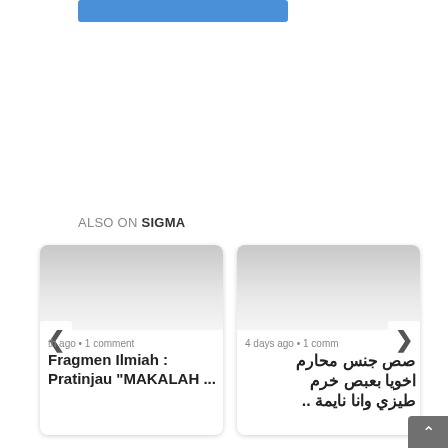[Figure (screenshot): Blue button/bar at top of page]
ALSO ON SIGMA
[Figure (screenshot): Card 1: Fragmen Ilmiah : Pratinjau "MAKALAH ..." - 1 comment, 1 month ago]
[Figure (screenshot): Card 2: Arabic text article - 4 days ago, 1 comment]